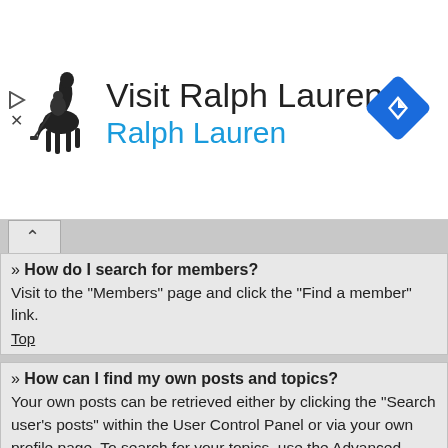[Figure (infographic): Ralph Lauren advertisement banner with polo horse logo, 'Visit Ralph Lauren' text, 'Ralph Lauren' in blue, navigation arrow diamond icon, and ad controls]
» How do I search for members?
Visit to the “Members” page and click the “Find a member” link.
Top
» How can I find my own posts and topics?
Your own posts can be retrieved either by clicking the “Search user’s posts” within the User Control Panel or via your own profile page. To search for your topics, use the Advanced search page and fill in the various options appropriately.
Top
Topic Subscriptions and Bookmarks
» What is the difference between bookmarking and subscribing?
Bookmarking in phpBB3 is much like bookmarking in your web browser. You aren’t alerted when there’s an update, but you can come back to the topic later. Subscribing, however, will notify you when there is an update to the topic or forum on the board via your